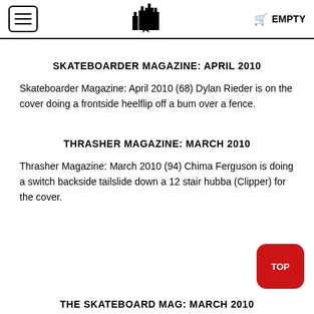EMPTY
SKATEBOARDER MAGAZINE: APRIL 2010
Skateboarder Magazine: April 2010 (68) Dylan Rieder is on the cover doing a frontside heelflip off a bum over a fence.
THRASHER MAGAZINE: MARCH 2010
Thrasher Magazine: March 2010 (94) Chima Ferguson is doing a switch backside tailslide down a 12 stair hubba (Clipper) for the cover.
THE SKATEBOARD MAG: MARCH 2010